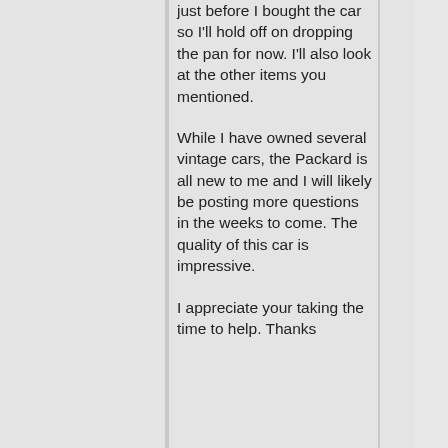just before I bought the car so I'll hold off on dropping the pan for now. I'll also look at the other items you mentioned.
While I have owned several vintage cars, the Packard is all new to me and I will likely be posting more questions in the weeks to come. The quality of this car is impressive.
I appreciate your taking the time to help. Thanks